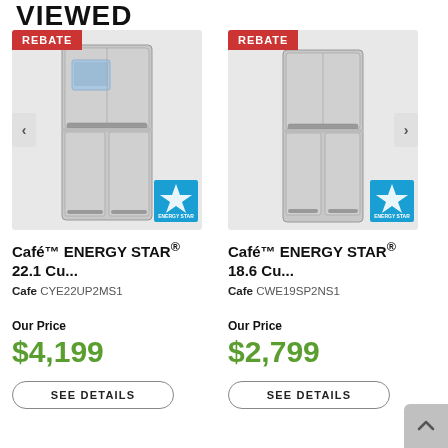VIEWED
[Figure (photo): Café stainless steel French door refrigerator with REBATE badge and ENERGY STAR badge, model CYE22UP2MS1]
Café™ ENERGY STAR® 22.1 Cu...
Cafe CYE22UP2MS1
Our Price
$4,199
SEE DETAILS
[Figure (photo): Café stainless steel French door refrigerator with REBATE badge and ENERGY STAR badge, model CWE19SP2NS1]
Café™ ENERGY STAR® 18.6 Cu...
Cafe CWE19SP2NS1
Our Price
$2,799
SEE DETAILS